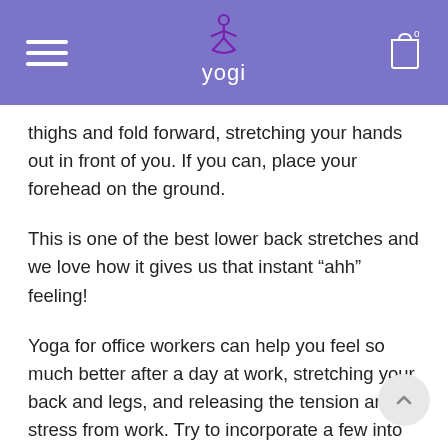yogi
thighs and fold forward, stretching your hands out in front of you. If you can, place your forehead on the ground.
This is one of the best lower back stretches and we love how it gives us that instant “ahh” feeling!
Yoga for office workers can help you feel so much better after a day at work, stretching your back and legs, and releasing the tension and stress from work. Try to incorporate a few into your evening yoga routine and what a change it makes!